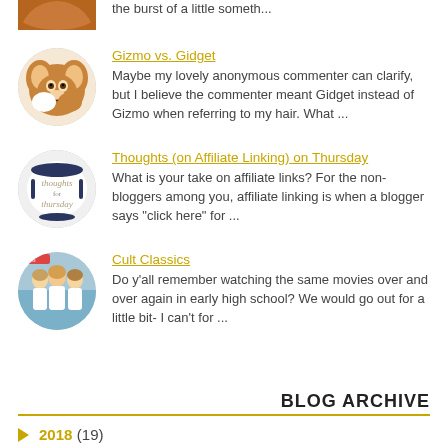the burst of a little someth...
Gizmo vs. Gidget
Maybe my lovely anonymous commenter can clarify, but I believe the commenter meant Gidget instead of Gizmo when referring to my hair.  What ...
Thoughts (on Affiliate Linking) on Thursday
What is your take on affiliate links? For the non-bloggers among you, affiliate linking is when a blogger says "click here" for ...
Cult Classics
Do y'all remember watching the same movies over and over again in early high school?  We would go out for a little bit- I can't for ...
BLOG ARCHIVE
2018 (19)